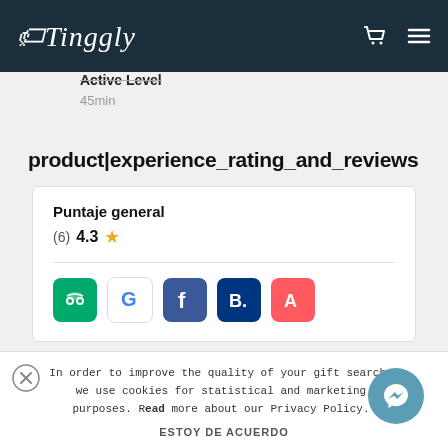[Figure (logo): Tinggly logo in white cursive script on dark navy background with shopping cart and hamburger menu icons]
Active Level
45min
product|experience_rating_and_reviews
Puntaje general
(6) 4.3 ★
[Figure (logo): Platform review icons: TripAdvisor (green owl), Google (G), Facebook (F), Booking.com (B), Airbnb (A)]
In order to improve the quality of your gift search, we use cookies for statistical and marketing purposes. Read more about our Privacy Policy.
ESTOY DE ACUERDO